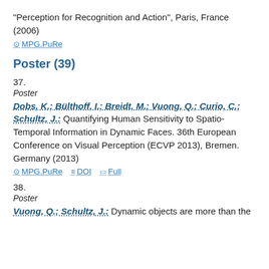“Perception for Recognition and Action”, Paris, France (2006)
MPG.PuRe
Poster (39)
37.
Poster
Dobs, K.; Bülthoff, I.; Breidt, M.; Vuong, Q.; Curio, C.; Schultz, J.: Quantifying Human Sensitivity to Spatio-Temporal Information in Dynamic Faces. 36th European Conference on Visual Perception (ECVP 2013), Bremen. Germany (2013)
MPG.PuRe  DOI  Full
38.
Poster
Vuong, Q.; Schultz, J.: Dynamic objects are more than the